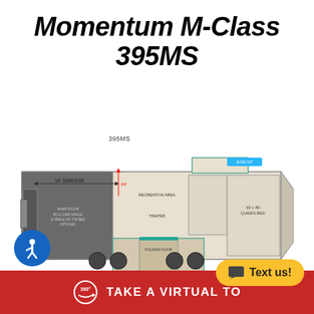Momentum M-Class 395MS
[Figure (schematic): Floor plan schematic of Momentum M-Class 395MS fifth wheel RV showing 14' garage, living area, kitchen, bathroom, and bedroom with slide-outs labeled]
395MS
[Figure (infographic): 360 degree Take a Virtual Tour red banner button at bottom]
[Figure (infographic): Blue accessibility icon button (person with circle)]
[Figure (infographic): Yellow Text us! chat button]